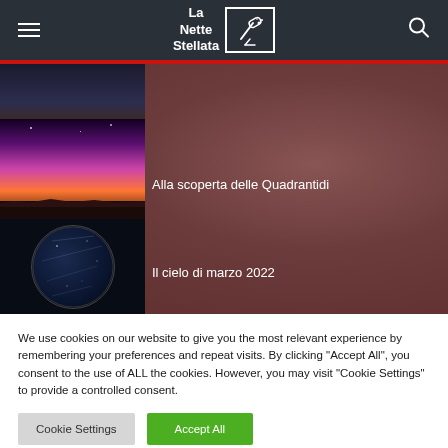La Nette Stellata
[Figure (photo): Article thumbnail: dark night sky strip]
[Figure (photo): Article thumbnail: colorful aurora borealis with pink/purple/orange sky]
Alla scoperta delle Quadrantidi
[Figure (photo): Article thumbnail: circular fisheye night sky with stars]
Il cielo di marzo 2022
We use cookies on our website to give you the most relevant experience by remembering your preferences and repeat visits. By clicking "Accept All", you consent to the use of ALL the cookies. However, you may visit "Cookie Settings" to provide a controlled consent.